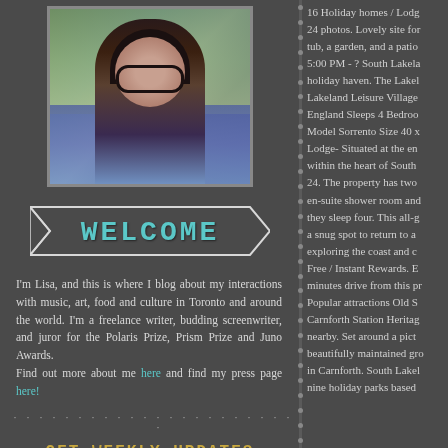[Figure (photo): Portrait photo of a woman with long dark hair, wearing large round dark sunglasses, outdoors]
WELCOME
I'm Lisa, and this is where I blog about my interactions with music, art, food and culture in Toronto and around the world. I'm a freelance writer, budding screenwriter, and juror for the Polaris Prize, Prism Prize and Juno Awards. Find out more about me here and find my press page here!
GET WEEKLY UPDATES
16 Holiday homes / Lodge 24 photos. Lovely site for tub, a garden, and a patio 5:00 PM - ? South Lakela holiday haven. The Lakel Lakeland Leisure Village England Sleeps 4 Bedroo Model Sorrento Size 40 x Lodge- Situated at the en within the heart of South 24. The property has two en-suite shower room and they sleep four. This all-g a snug spot to return to a exploring the coast and c Free / Instant Rewards. E minutes drive from this pr Popular attractions Old S Carnforth Station Heritag nearby. Set around a pict beautifully maintained gro in Carnforth. South Lakel nine holiday parks based